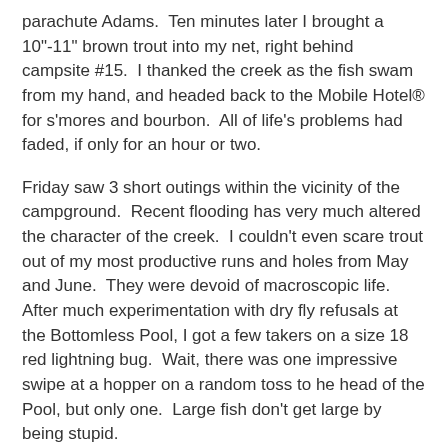parachute Adams.  Ten minutes later I brought a 10"-11" brown trout into my net, right behind campsite #15.  I thanked the creek as the fish swam from my hand, and headed back to the Mobile Hotel® for s'mores and bourbon.  All of life's problems had faded, if only for an hour or two.
Friday saw 3 short outings within the vicinity of the campground.  Recent flooding has very much altered the character of the creek.  I couldn't even scare trout out of my most productive runs and holes from May and June.  They were devoid of macroscopic life.  After much experimentation with dry fly refusals at the Bottomless Pool, I got a few takers on a size 18 red lightning bug.  Wait, there was one impressive swipe at a hopper on a random toss to he head of the Pool, but only one.  Large fish don't get large by being stupid.
Saturday was a graphite day and will be discussed at another time.
Sunday morning, I headed out with two 'glass rods in hand (hands?): Mellow Yellow rigged for little dry flies, and